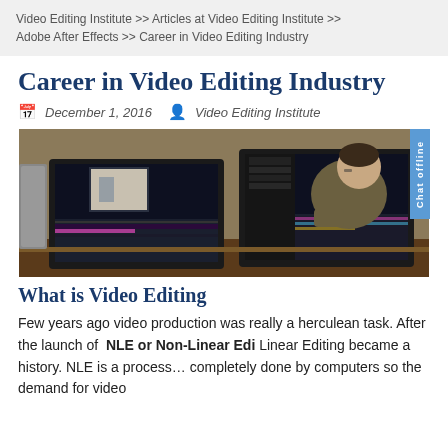Video Editing Institute >> Articles at Video Editing Institute >> Adobe After Effects >> Career in Video Editing Industry
Career in Video Editing Industry
December 1, 2016   Video Editing Institute
[Figure (photo): A video editor working at a desk with multiple monitors showing video editing software]
What is Video Editing
Few years ago video production was really a herculean task. After the launch of NLE or Non-Linear Edi... Linear Editing became a history. NLE is a process... completely done by computers so the demand for video